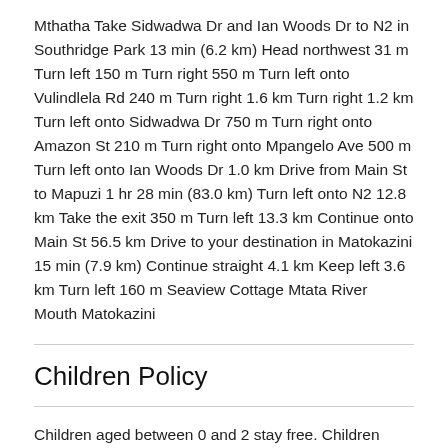Mthatha Take Sidwadwa Dr and Ian Woods Dr to N2 in Southridge Park 13 min (6.2 km) Head northwest 31 m Turn left 150 m Turn right 550 m Turn left onto Vulindlela Rd 240 m Turn right 1.6 km Turn right 1.2 km Turn left onto Sidwadwa Dr 750 m Turn right onto Amazon St 210 m Turn right onto Mpangelo Ave 500 m Turn left onto Ian Woods Dr 1.0 km Drive from Main St to Mapuzi 1 hr 28 min (83.0 km) Turn left onto N2 12.8 km Take the exit 350 m Turn left 13.3 km Continue onto Main St 56.5 km Drive to your destination in Matokazini 15 min (7.9 km) Continue straight 4.1 km Keep left 3.6 km Turn left 160 m Seaview Cottage Mtata River Mouth Matokazini
Children Policy
Children aged between 0 and 2 stay free. Children aged between 3 and 13 pay 100% of the cleaning costs.